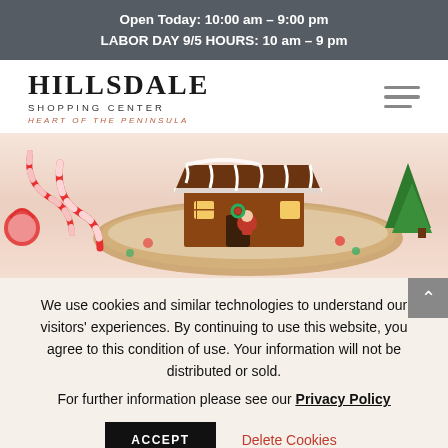Open Today: 10:00 am – 9:00 pm
LABOR DAY 9/5 HOURS: 10 am – 9 pm
HILLSDALE
SHOPPING CENTER
HEART OF THE PENINSULA
[Figure (photo): A decorative gingerbread house with candy canes and holiday decorations on a wooden board]
We use cookies and similar technologies to understand our visitors' experiences. By continuing to use this website, you agree to this condition of use. Your information will not be distributed or sold.
For further information please see our Privacy Policy
ACCEPT   Delete Cookies